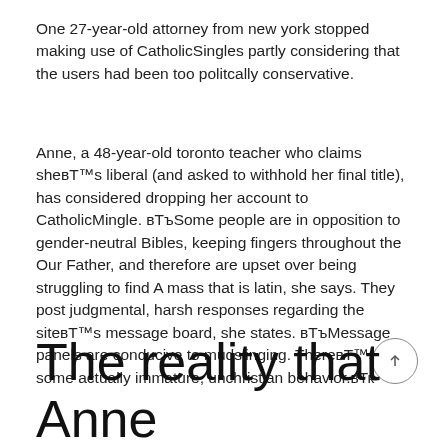One 27-year-old attorney from new york stopped making use of CatholicSingles partly considering that the users had been too politcally conservative.
Anne, a 48-year-old toronto teacher who claims sheвЂ™s liberal (and asked to withhold her final title), has considered dropping her account to CatholicMingle. вЂњSome people are in opposition to gender-neutral Bibles, keeping fingers throughout the Our Father, and therefore are upset over being struggling to find A mass that is latin, she says. They post judgmental, harsh responses regarding the siteвЂ™s message board, she states. вЂњMessage panels are conducive to mudslinging. ThereвЂ™s some actually immature, unchristian behavior.вЂќ
The reality that Anne